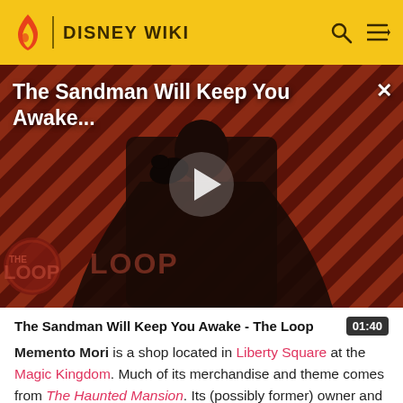DISNEY WIKI
[Figure (screenshot): Video thumbnail showing a dark figure in a black cape against a striped red/dark background. Title reads 'The Sandman Will Keep You Awake...' with a play button and 'THE LOOP' watermark overlay.]
The Sandman Will Keep You Awake - The Loop  01:40
Memento Mori is a shop located in Liberty Square at the Magic Kingdom. Much of its merchandise and theme comes from The Haunted Mansion. Its (possibly former) owner and operator seems to be Madame Leota, judging